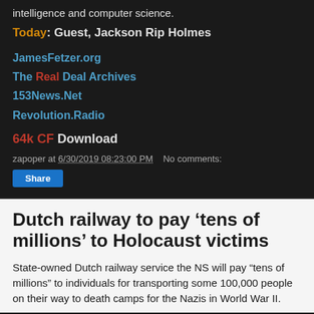intelligence and computer science.
Today: Guest, Jackson Rip Holmes
JamesFetzer.org
The Real Deal Archives
153News.Net
Revolution.Radio
64k CF Download
zapoper at 6/30/2019 08:23:00 PM   No comments:
Share
Dutch railway to pay ‘tens of millions’ to Holocaust victims
State-owned Dutch railway service the NS will pay “tens of millions” to individuals for transporting some 100,000 people on their way to death camps for the Nazis in World War II.